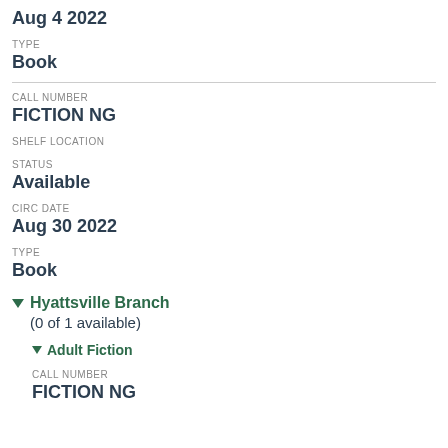Aug 4 2022
TYPE
Book
CALL NUMBER
FICTION NG
SHELF LOCATION
STATUS
Available
CIRC DATE
Aug 30 2022
TYPE
Book
Hyattsville Branch (0 of 1 available)
Adult Fiction
CALL NUMBER
FICTION NG